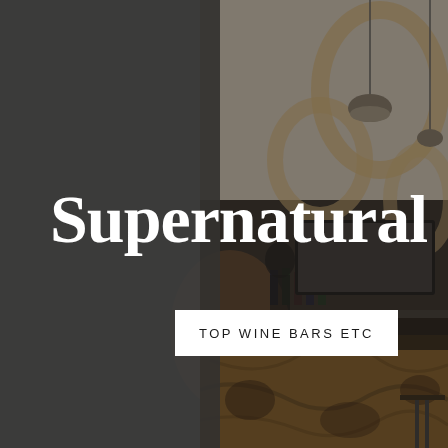[Figure (photo): Interior of a wine bar with pendant lights, a curved bar counter with decorative wood paneling, bottles on shelves, and abstract mural on the wall. Left half is a dark gray overlay panel; right half shows the actual bar interior photo with dark tint overlay.]
Supernatural
TOP WINE BARS ETC